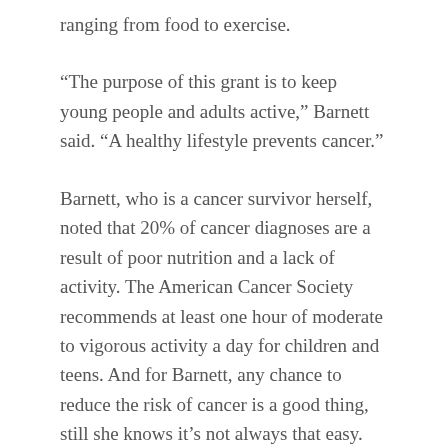ranging from food to exercise.
“The purpose of this grant is to keep young people and adults active,” Barnett said. “A healthy lifestyle prevents cancer.”
Barnett, who is a cancer survivor herself, noted that 20% of cancer diagnoses are a result of poor nutrition and a lack of activity. The American Cancer Society recommends at least one hour of moderate to vigorous activity a day for children and teens. And for Barnett, any chance to reduce the risk of cancer is a good thing, still she knows it’s not always that easy.
People often talk about what the pandemic has done, she said, and one of those things includes